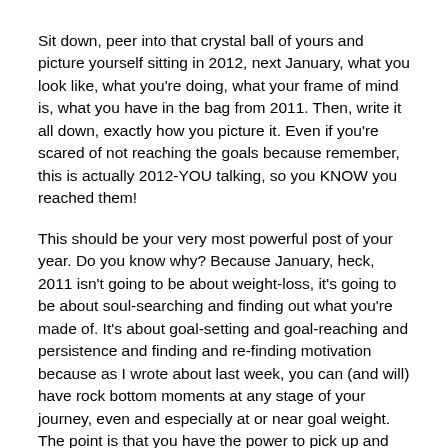Sit down, peer into that crystal ball of yours and picture yourself sitting in 2012, next January, what you look like, what you're doing, what your frame of mind is, what you have in the bag from 2011. Then, write it all down, exactly how you picture it. Even if you're scared of not reaching the goals because remember, this is actually 2012-YOU talking, so you KNOW you reached them!
This should be your very most powerful post of your year. Do you know why? Because January, heck, 2011 isn't going to be about weight-loss, it's going to be about soul-searching and finding out what you're made of. It's about goal-setting and goal-reaching and persistence and finding and re-finding motivation because as I wrote about last week, you can (and will) have rock bottom moments at any stage of your journey, even and especially at or near goal weight. The point is that you have the power to pick up and go on. And we know you have that power. And starting today you will show it to yourself.
I just got finished reading my letter from last year and I cried. I apparently greatly underestimated myself because I went ahead and reached that far away goal but I didn't notice...